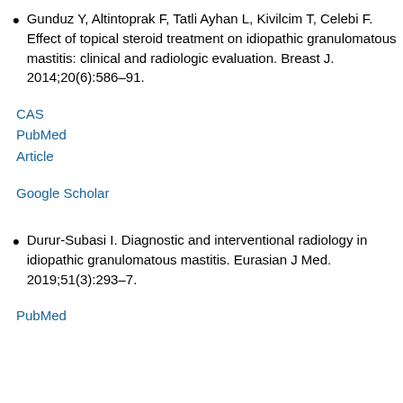Gunduz Y, Altintoprak F, Tatli Ayhan L, Kivilcim T, Celebi F. Effect of topical steroid treatment on idiopathic granulomatous mastitis: clinical and radiologic evaluation. Breast J. 2014;20(6):586–91.
CAS
PubMed
Article
Google Scholar
Durur-Subasi I. Diagnostic and interventional radiology in idiopathic granulomatous mastitis. Eurasian J Med. 2019;51(3):293–7.
PubMed